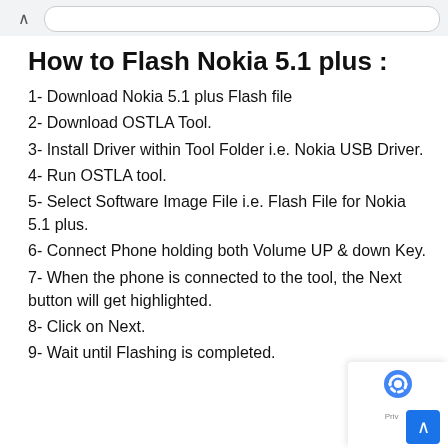How to Flash Nokia 5.1 plus :
1- Download Nokia 5.1 plus Flash file
2- Download OSTLA Tool.
3- Install Driver within Tool Folder i.e. Nokia USB Driver.
4- Run OSTLA tool.
5- Select Software Image File i.e. Flash File for Nokia 5.1 plus.
6- Connect Phone holding both Volume UP & down Key.
7- When the phone is connected to the tool, the Next button will get highlighted.
8- Click on Next.
9- Wait until Flashing is completed.